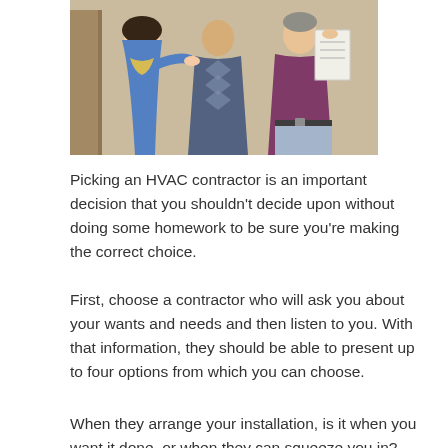[Figure (photo): Three people looking at a document together — a woman in a blue jacket, a person in a patterned sweater, and a man in a purple shirt holding papers]
Picking an HVAC contractor is an important decision that you shouldn't decide upon without doing some homework to be sure you're making the correct choice.
First, choose a contractor who will ask you about your wants and needs and then listen to you. With that information, they should be able to present up to four options from which you can choose.
When they arrange your installation, is it when you want it done, or when they can squeeze you in? Will your contractor pull a permit on every job? Doing so will make sure that it meets all of your local codes.